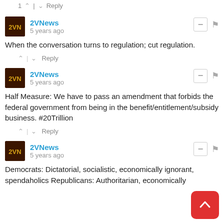1 ^ | v Reply
2VNews · 5 years ago
When the conversation turns to regulation; cut regulation.
^ | v Reply
2VNews · 5 years ago
Half Measure: We have to pass an amendment that forbids the federal government from being in the benefit/entitlement/subsidy business. #20Trillion
^ | v Reply
2VNews · 5 years ago
Democrats: Dictatorial, socialistic, economically ignorant, spendaholics Republicans: Authoritarian, economically